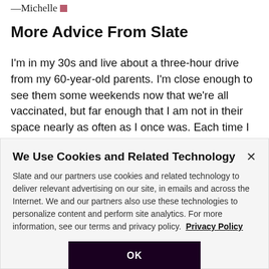—Michelle
More Advice From Slate
I'm in my 30s and live about a three-hour drive from my 60-year-old parents. I'm close enough to see them some weekends now that we're all vaccinated, but far enough that I am not in their space nearly as often as I once was. Each time I return home to see them, I am increasingly concerned by how shabby and dirty their space is—think
We Use Cookies and Related Technology
Slate and our partners use cookies and related technology to deliver relevant advertising on our site, in emails and across the Internet. We and our partners also use these technologies to personalize content and perform site analytics. For more information, see our terms and privacy policy. Privacy Policy
OK